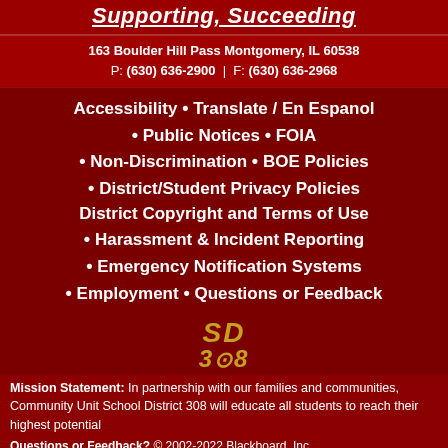Supporting, Succeeding
163 Boulder Hill Pass Montgomery, IL 60538
P: (630) 636-2900  |  F: (630) 636-2968
Accessibility · Translate / En Espanol
Public Notices · FOIA
Non-Discrimination · BOE Policies
District/Student Privacy Policies
District Copyright and Terms of Use
Harassment & Incident Reporting
Emergency Notification Systems
Employment · Questions or Feedback
[Figure (logo): SD 308 school district logo in gold italic text]
Mission Statement: In partnership with our families and communities, Community Unit School District 308 will educate all students to reach their highest potential
Questions or Feedback? © 2002-2022 Blackboard, Inc.